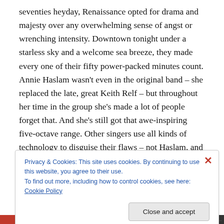seventies heyday, Renaissance opted for drama and majesty over any overwhelming sense of angst or wrenching intensity. Downtown tonight under a starless sky and a welcome sea breeze, they made every one of their fifty power-packed minutes count. Annie Haslam wasn't even in the original band – she replaced the late, great Keith Relf – but throughout her time in the group she's made a lot of people forget that. And she's still got that awe-inspiring five-octave range. Other singers use all kinds of technology to disguise their flaws – not Haslam, and that made itself known not because she backed off
Privacy & Cookies: This site uses cookies. By continuing to use this website, you agree to their use.
To find out more, including how to control cookies, see here: Cookie Policy
Close and accept